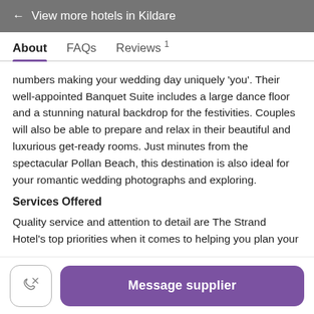← View more hotels in Kildare
About   FAQs   Reviews 1
numbers making your wedding day uniquely 'you'. Their well-appointed Banquet Suite includes a large dance floor and a stunning natural backdrop for the festivities. Couples will also be able to prepare and relax in their beautiful and luxurious get-ready rooms. Just minutes from the spectacular Pollan Beach, this destination is also ideal for your romantic wedding photographs and exploring.
Services Offered
Quality service and attention to detail are The Strand Hotel's top priorities when it comes to helping you plan your